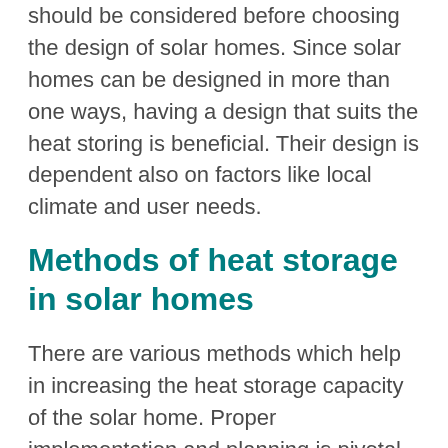should be considered before choosing the design of solar homes. Since solar homes can be designed in more than one ways, having a design that suits the heat storing is beneficial. Their design is dependent also on factors like local climate and user needs.
Methods of heat storage in solar homes
There are various methods which help in increasing the heat storage capacity of the solar home. Proper implementation and planning is pivotal for having maximum benefits out of the solar home. Some of the premiere important aspects to be taken care